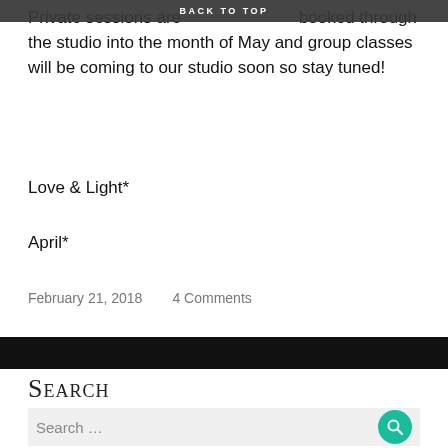Private sessions are booked through the studio into the month of May and group classes will be coming to our studio soon so stay tuned!
Love & Light*
April*
February 21, 2018    4 Comments
Search
Search ...
Breathwork Healing